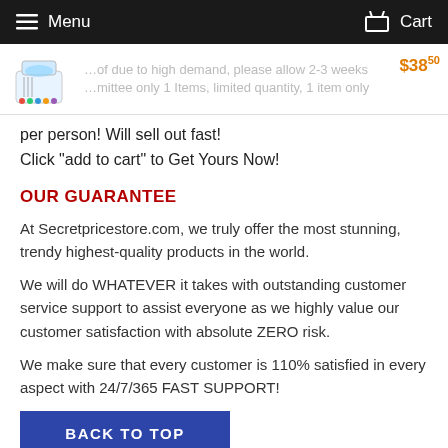Menu   Cart
[Figure (screenshot): Product image of a small portable air cooler device with blue LED light and a price tag of $38.50, with faded text overlay reading high demand notice]
per person! Will sell out fast!
Click "add to cart" to Get Yours Now!
OUR GUARANTEE
At Secretpricestore.com, we truly offer the most stunning, trendy highest-quality products in the world.
We will do WHATEVER it takes with outstanding customer service support to assist everyone as we highly value our customer satisfaction with absolute ZERO risk.
We make sure that every customer is 110% satisfied in every aspect with 24/7/365 FAST SUPPORT!
BACK TO TOP